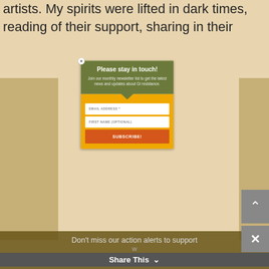artists. My spirits were lifted in dark times, reading of their support, sharing in their
[Figure (screenshot): Modal popup overlay with green header and orange body, containing newsletter signup form]
Please stay in touch!
Join our monthly newsletter list to get the latest news and updates about GI resistance.
EMAIL ADDRESS *
FIRST NAME (OPTIONAL)
SUBSCRIBE!
Don't miss our action alerts to support w...
Share This